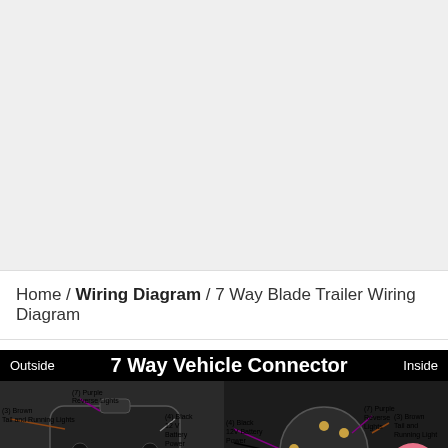Home / Wiring Diagram / 7 Way Blade Trailer Wiring Diagram
[Figure (schematic): 7 Way Vehicle Connector wiring diagram showing outside and inside views of a 7-pin blade trailer connector. Labels: (3) Brown Tail and Running Lights, (7) Purple Reverse Lights, (4) Black 12V Battery Power on both outside and inside views. Outside view shows plastic connector body with pin layout. Inside view shows metal pin contacts.]